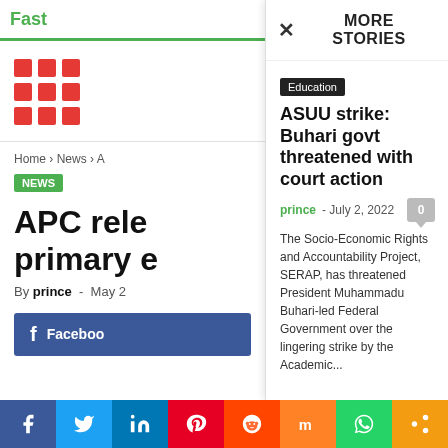Fast ...
MORE STORIES
Home › News › A...
NEWS
APC rele... primary e...
By prince - May 2...
Facebook
Education
ASUU strike: Buhari govt threatened with court action
prince - July 2, 2022
The Socio-Economic Rights and Accountability Project, SERAP, has threatened President Muhammadu Buhari-led Federal Government over the lingering strike by the Academic...